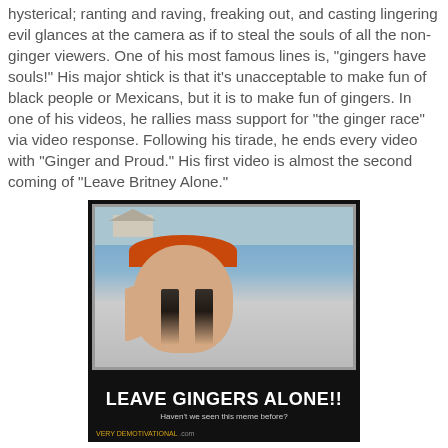hysterical; ranting and raving, freaking out, and casting lingering evil glances at the camera as if to steal the souls of all the non-ginger viewers. One of his most famous lines is, "gingers have souls!" His major shtick is that it's unacceptable to make fun of black people or Mexicans, but it is to make fun of gingers. In one of his videos, he rallies mass support for "the ginger race" via video response. Following his tirade, he ends every video with "Ginger and Proud." His first video is almost the second coming of "Leave Britney Alone."
[Figure (photo): A demotivational poster-style image with a black background. Inside is a photo of a person with red/orange hair and dramatic black eye makeup streaking down their face, reaching toward the camera. Below the photo in large white bold text: 'LEAVE GINGERS ALONE!!' Smaller gray text reads: 'Haven't we seen this meme before?' At bottom left in yellow: 'VERY DEMOTIVATIONAL' followed in gray: '.com']